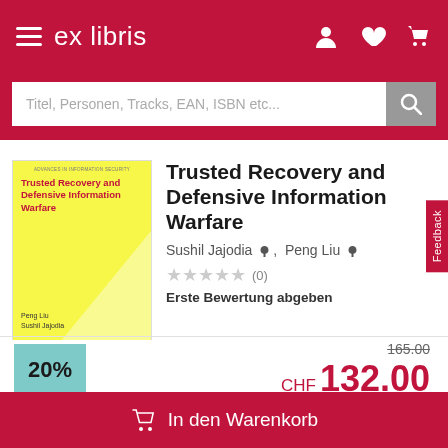ex libris
Titel, Personen, Tracks, EAN, ISBN etc...
[Figure (illustration): Book cover: Trusted Recovery and Defensive Information Warfare, yellow cover with red text, authors Peng Liu and Sushil Jajodia]
Trusted Recovery and Defensive Information Warfare
Sushil Jajodia, Peng Liu
★★★★★ (0)
Erste Bewertung abgeben
20%
165.00
CHF 132.00
In den Warenkorb